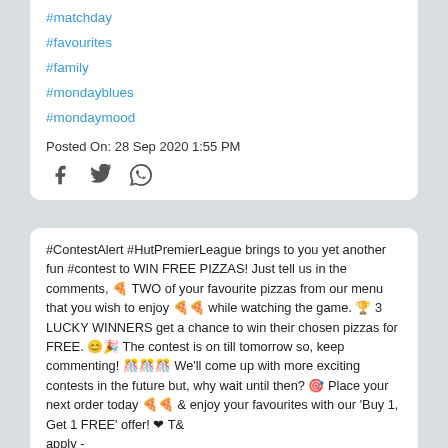#matchday
#favourites
#family
#mondayblues
#mondaymood
Posted On: 28 Sep 2020 1:55 PM
#ContestAlert #HutPremierLeague brings to you yet another fun #contest to WIN FREE PIZZAS! Just tell us in the comments, 🍕 TWO of your favourite pizzas from our menu that you wish to enjoy 🍕🍕 while watching the game. 🏆 3 LUCKY WINNERS get a chance to win their chosen pizzas for FREE. 😊🎉 The contest is on till tomorrow so, keep commenting! 🎊🎊🎊 We'll come up with more exciting contests in the future but, why wait until then? 🎯 Place your next order today 🍕🍕 & enjoy your favourites with our 'Buy 1, Get 1 FREE' offer! ❤ T& apply - https://bit.ly/3je1nJ2
[Figure (logo): Uber Eats logo with text UBER IT TO PIZZA HUT]